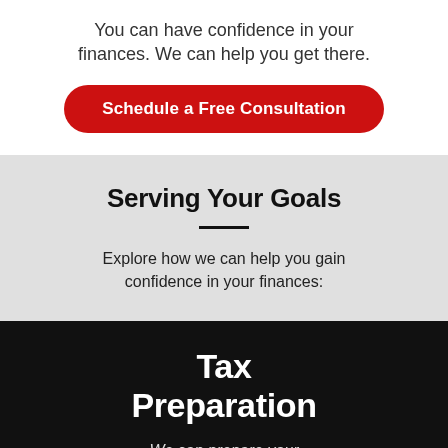You can have confidence in your finances. We can help you get there.
Schedule a Free Consultation
Serving Your Goals
Explore how we can help you gain confidence in your finances:
Tax Preparation
We can prepare your personal or business returns.